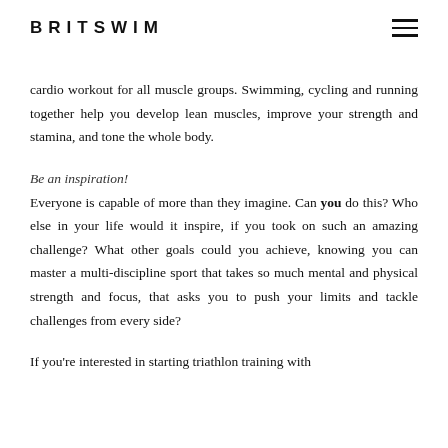BRITSWIM
cardio workout for all muscle groups. Swimming, cycling and running together help you develop lean muscles, improve your strength and stamina, and tone the whole body.
Be an inspiration! Everyone is capable of more than they imagine. Can you do this? Who else in your life would it inspire, if you took on such an amazing challenge? What other goals could you achieve, knowing you can master a multi-discipline sport that takes so much mental and physical strength and focus, that asks you to push your limits and tackle challenges from every side?
If you're interested in starting triathlon training with